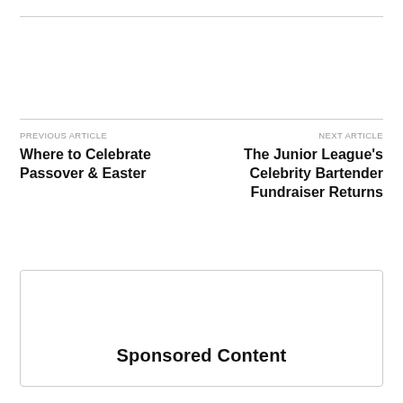PREVIOUS ARTICLE
Where to Celebrate Passover & Easter
NEXT ARTICLE
The Junior League's Celebrity Bartender Fundraiser Returns
Sponsored Content